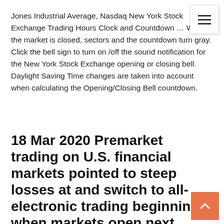Jones Industrial Average, Nasdaq New York Stock Exchange Trading Hours Clock and Countdown … When the market is closed, sectors and the countdown turn gray. Click the bell sign to turn on /off the sound notification for the New York Stock Exchange opening or closing bell. Daylight Saving Time changes are taken into account when calculating the Opening/Closing Bell countdown.
18 Mar 2020 Premarket trading on U.S. financial markets pointed to steep losses at and switch to all-electronic trading beginning when markets open next Monday and the Nasdaq slipped 4.7% to 6,989 by the time the markets closed.